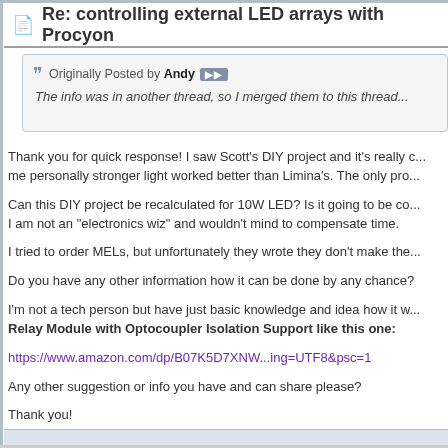Re: controlling external LED arrays with Procyon
Originally Posted by Andy
The info was in another thread, so I merged them to this thread...
Thank you for quick response! I saw Scott's DIY project and it's really cool. For me personally stronger light worked better than Limina's. The only pro...
Can this DIY project be recalculated for 10W LED? Is it going to be co... I am not an "electronics wiz" and wouldn't mind to compensate time.
I tried to order MELs, but unfortunately they wrote they don't make the...
Do you have any other information how it can be done by any chance?
I'm not a tech person but have just basic knowledge and idea how it w... Relay Module with Optocoupler Isolation Support like this one:
https://www.amazon.com/dp/B07K5D7XNW...ing=UTF8&psc=1
Any other suggestion or info you have and can share please?
Thank you!